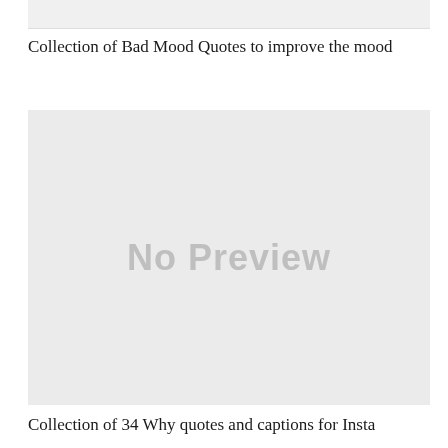[Figure (other): Top partial image strip, light grey background]
Collection of Bad Mood Quotes to improve the mood
[Figure (other): No Preview placeholder image with light grey background and 'No Preview' text in grey]
Collection of 34 Why quotes and captions for Insta